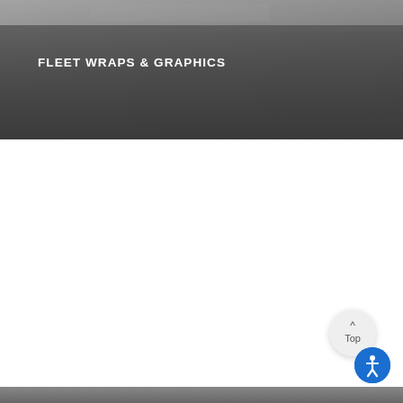[Figure (photo): Dark gray gradient header banner with muted photographic texture, overlaid with a semi-transparent dark panel containing the title text.]
FLEET WRAPS & GRAPHICS
[Figure (other): Back to top button: circular light gray button with an upward caret and the word 'Top'.]
[Figure (other): Circular blue accessibility icon button with a person/wheelchair symbol.]